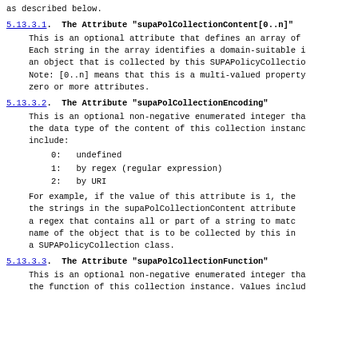as described below.
5.13.3.1.  The Attribute "supaPolCollectionContent[0..n]"
This is an optional attribute that defines an array of Each string in the array identifies a domain-suitable i an object that is collected by this SUPAPolicyCollectio Note: [0..n] means that this is a multi-valued property zero or more attributes.
5.13.3.2.  The Attribute "supaPolCollectionEncoding"
This is an optional non-negative enumerated integer tha the data type of the content of this collection instanc include:
0:   undefined
1:   by regex (regular expression)
2:   by URI
For example, if the value of this attribute is 1, the the strings in the supaPolCollectionContent attribute a regex that contains all or part of a string to matc name of the object that is to be collected by this in a SUPAPolicyCollection class.
5.13.3.3.  The Attribute "supaPolCollectionFunction"
This is an optional non-negative enumerated integer tha the function of this collection instance. Values includ